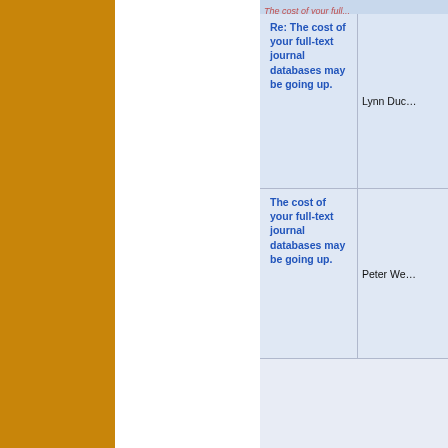[Figure (screenshot): Screenshot of an email list interface showing two email threads about 'The cost of your full-text journal databases may be going up.' The left side has a gold/orange vertical bar, a white column, and the right panel shows email subject lines in blue bold text with sender names.]